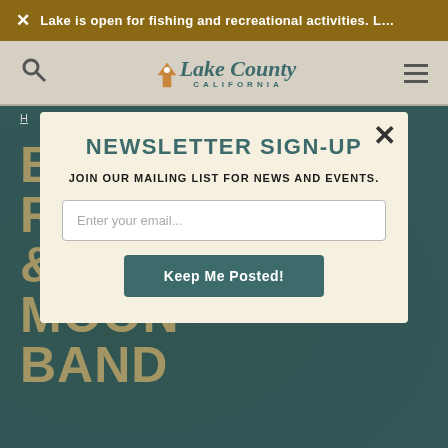× Lake is open for fishing and recreational activities. L…
[Figure (logo): Lake County California logo with location pin icon and stylized text]
H…
& THE FULL MOON BAND
NEWSLETTER SIGN-UP
JOIN OUR MAILING LIST FOR NEWS AND EVENTS.
Enter your email...
Keep Me Posted!